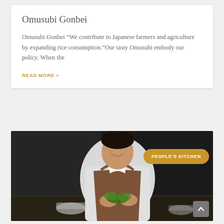Omusubi Gonbei
Omusubi Gonbei “We contribute to Japanese farmers and agriculture by expanding rice consumption.”Our tasty Omusubi embody our policy. When the
READ MORE »
[Figure (photo): A smiling chef in a white jacket and brown apron preparing food at a dark kitchen counter, with a golden 'PEOPLE'S KITCHEN' badge overlay and a gray scroll-up button in the bottom right corner.]